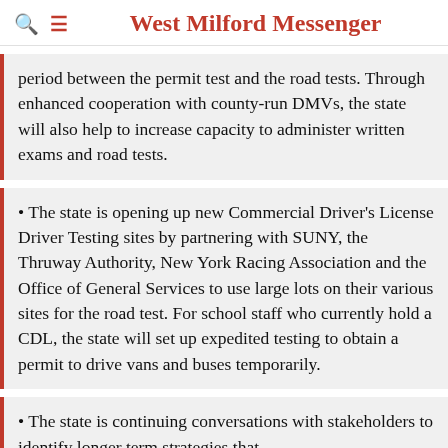West Milford Messenger
period between the permit test and the road tests. Through enhanced cooperation with county-run DMVs, the state will also help to increase capacity to administer written exams and road tests.
• The state is opening up new Commercial Driver's License Driver Testing sites by partnering with SUNY, the Thruway Authority, New York Racing Association and the Office of General Services to use large lots on their various sites for the road test. For school staff who currently hold a CDL, the state will set up expedited testing to obtain a permit to drive vans and buses temporarily.
• The state is continuing conversations with stakeholders to identify longer term strategies that